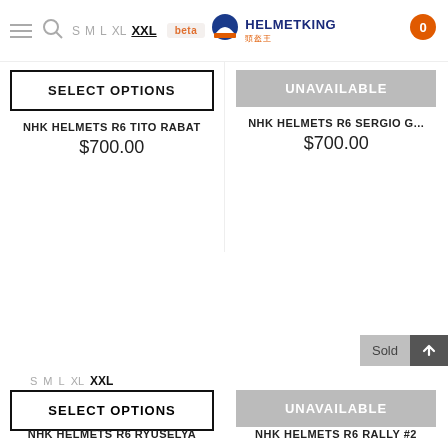HelmetKing — Navigation header with size selector (S M L XL XXL), logo, and cart badge (0)
SELECT OPTIONS
UNAVAILABLE
NHK HELMETS R6 TITO RABAT
$700.00
NHK HELMETS R6 SERGIO G...
$700.00
Sold
S M L XL XXL
SELECT OPTIONS
UNAVAILABLE
NHK HELMETS R6 RYUSELYA
NHK HELMETS R6 RALLY #2